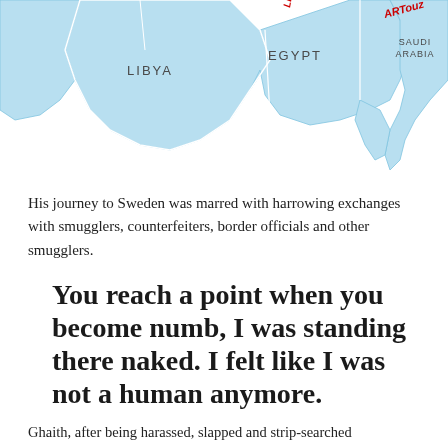[Figure (map): Partial map of North Africa and Middle East showing Libya, Egypt, and Saudi Arabia with light blue shading indicating a region. Red handwritten text reads 'ARTouz' and other partial text visible at top.]
His journey to Sweden was marred with harrowing exchanges with smugglers, counterfeiters, border officials and other smugglers.
You reach a point when you become numb, I was standing there naked. I felt like I was not a human anymore.
Ghaith, after being harassed, slapped and strip-searched